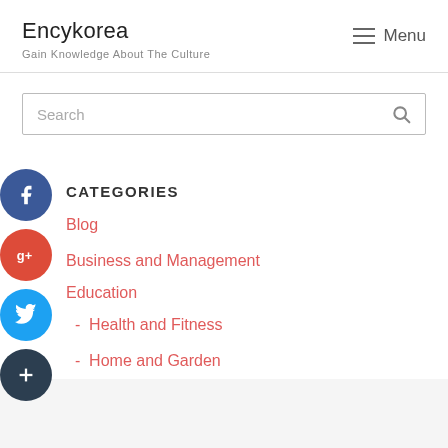Encykorea
Gain Knowledge About The Culture
Menu
Search
CATEGORIES
Blog
Business and Management
Education
- Health and Fitness
- Home and Garden